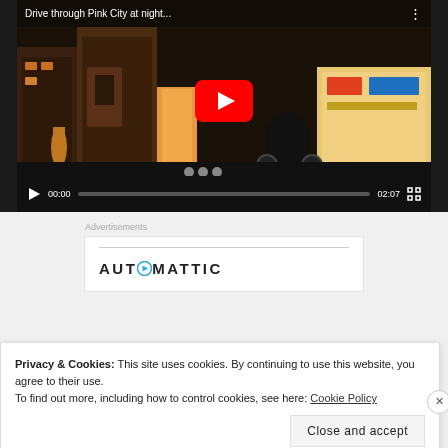[Figure (screenshot): YouTube video thumbnail showing 'Drive through Pink City at night...' with a night city scene, motorcyclist, and YouTube play button overlay. Video controls show 00:00 / 02:07.]
Advertisements
[Figure (logo): AUTOMATTIC logo with circular icon replacing the 'O']
Privacy & Cookies: This site uses cookies. By continuing to use this website, you agree to their use.
To find out more, including how to control cookies, see here: Cookie Policy
Close and accept